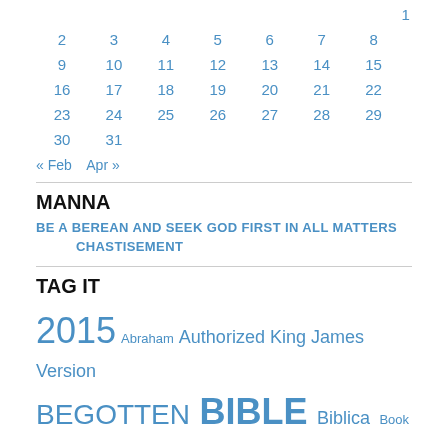|  | 2 | 3 | 4 | 5 | 6 | 7 | 8 |
| 9 | 10 | 11 | 12 | 13 | 14 | 15 |  |
| 16 | 17 | 18 | 19 | 20 | 21 | 22 |  |
| 23 | 24 | 25 | 26 | 27 | 28 | 29 |  |
| 30 | 31 |  |  |  |  |  |  |
« Feb   Apr »
MANNA
BE A BEREAN AND SEEK GOD FIRST IN ALL MATTERS
CHASTISEMENT
TAG IT
2015  Abraham  Authorized King James Version  BEGOTTEN  BIBLE  Biblica  Book of Revelation  CHARLES